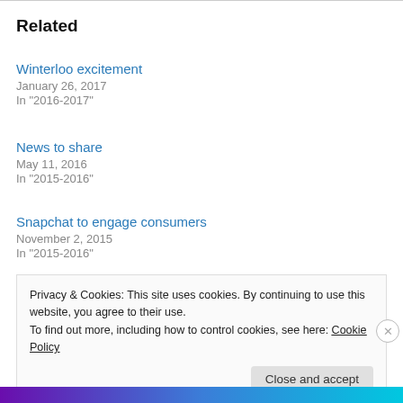Related
Winterloo excitement
January 26, 2017
In "2016-2017"
News to share
May 11, 2016
In "2015-2016"
Snapchat to engage consumers
November 2, 2015
In "2015-2016"
Privacy & Cookies: This site uses cookies. By continuing to use this website, you agree to their use.
To find out more, including how to control cookies, see here: Cookie Policy
Close and accept